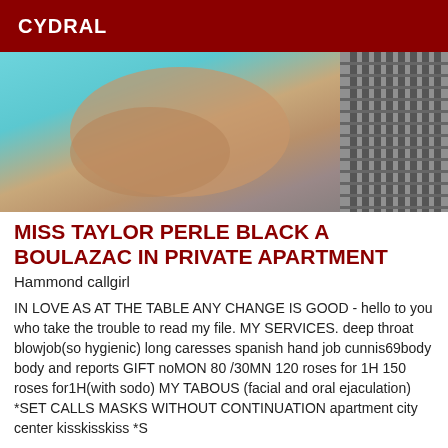CYDRAL
[Figure (photo): Close-up photo of a person's hands/body near a pool or tiled surface with a drain grate visible on the right side]
MISS TAYLOR PERLE BLACK A BOULAZAC IN PRIVATE APARTMENT
Hammond callgirl
IN LOVE AS AT THE TABLE ANY CHANGE IS GOOD - hello to you who take the trouble to read my file. MY SERVICES. deep throat blowjob(so hygienic) long caresses spanish hand job cunnis69body body and reports GIFT noMON 80 /30MN 120 roses for 1H 150 roses for1H(with sodo) MY TABOUS (facial and oral ejaculation) *SET CALLS MASKS WITHOUT CONTINUATION apartment city center kisskisskiss *S